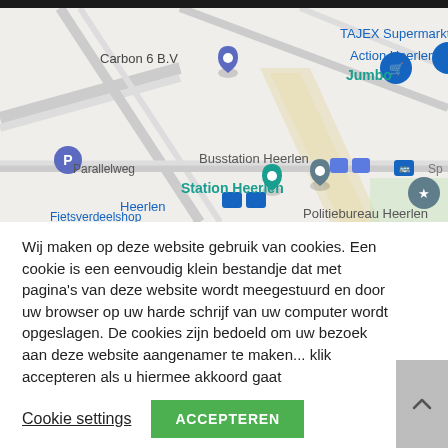[Figure (map): Google Maps screenshot showing Heerlen area with landmarks: Carbon 6 B.V, Jumbo, TAJEX Supermarkt, Action Heerlen, Busstation Heerlen, Station Heerlen, Heerlen bus stop, Politiebureau Heerlen, Parallelweg, and a partial label Fietsverdeelshop at the bottom.]
Wij maken op deze website gebruik van cookies. Een cookie is een eenvoudig klein bestandje dat met pagina's van deze website wordt meegestuurd en door uw browser op uw harde schrijf van uw computer wordt opgeslagen. De cookies zijn bedoeld om uw bezoek aan deze website aangenamer te maken... klik accepteren als u hiermee akkoord gaat